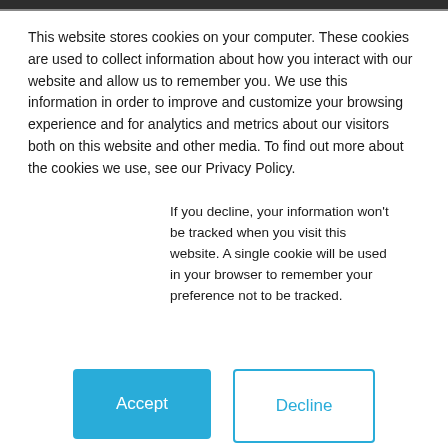[Figure (screenshot): Blue header bar at top of website]
Home
Digital Marketing
Agencies
About Us
This website stores cookies on your computer. These cookies are used to collect information about how you interact with our website and allow us to remember you. We use this information in order to improve and customize your browsing experience and for analytics and metrics about our visitors both on this website and other media. To find out more about the cookies we use, see our Privacy Policy.
If you decline, your information won’t be tracked when you visit this website. A single cookie will be used in your browser to remember your preference not to be tracked.
Accept
Decline